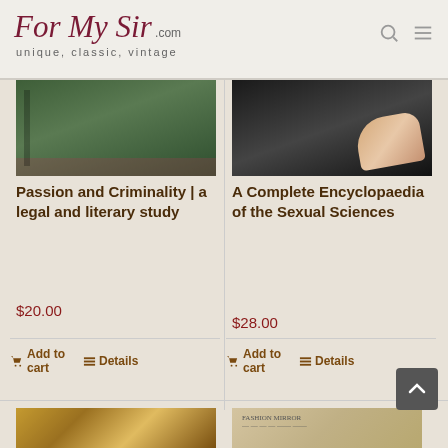For My Sir .com — unique, classic, vintage
[Figure (photo): Green cloth-bound vintage book spine]
Passion and Criminality | a legal and literary study
$20.00
Add to cart  Details
[Figure (photo): Dark cloth-bound book held in hand]
A Complete Encyclopaedia of the Sexual Sciences
$28.00
Add to cart  Details
[Figure (photo): Ornate decorative gold embossed book cover]
[Figure (photo): Cream colored vintage book with text on cover]